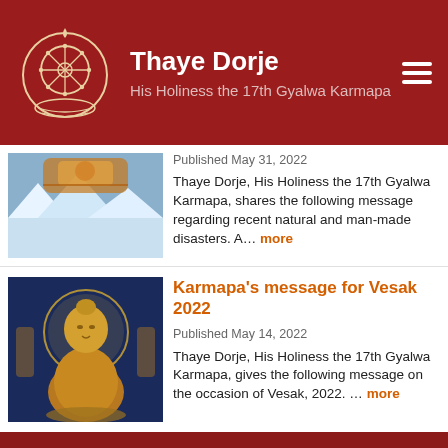Thaye Dorje – His Holiness the 17th Gyalwa Karmapa
[Figure (photo): Partial thumbnail of an article about natural and man-made disasters – Tibetan Buddhist thangka painting]
Published May 31, 2022
Thaye Dorje, His Holiness the 17th Gyalwa Karmapa, shares the following message regarding recent natural and man-made disasters. A… more
[Figure (photo): Golden Buddha statue with halo, seated in meditation pose against dark blue background]
Karmapa's message for Vesak 2022
Published May 14, 2022
Thaye Dorje, His Holiness the 17th Gyalwa Karmapa, gives the following message on the occasion of Vesak, 2022.  … more
We use cookies to understand our web traffic and to allow users to log in. By continuing to use this site, you indicate that you agree to this.
OK